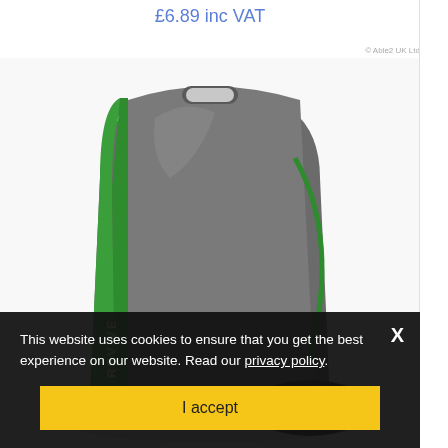£6.89 inc VAT
© Able2 UK Ltd 2014
[Figure (photo): Grey and green Revive branded backpack/rucksack with top carry handle, shown against white background. A smaller black Revive accessory item is visible in front lower right. The bag has a vertical green stripe on the left side and green curved accent stitching on the body.]
This website uses cookies to ensure that you get the best experience on our website. Read our privacy policy.
I accept